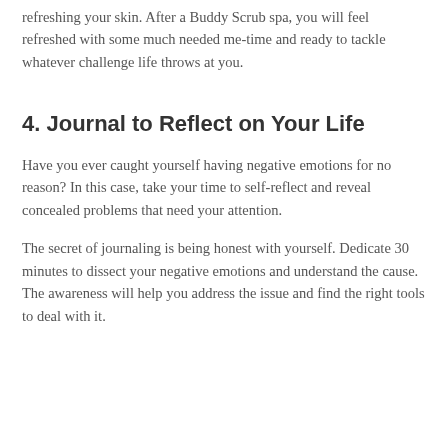refreshing your skin. After a Buddy Scrub spa, you will feel refreshed with some much needed me-time and ready to tackle whatever challenge life throws at you.
4. Journal to Reflect on Your Life
Have you ever caught yourself having negative emotions for no reason? In this case, take your time to self-reflect and reveal concealed problems that need your attention.
The secret of journaling is being honest with yourself. Dedicate 30 minutes to dissect your negative emotions and understand the cause. The awareness will help you address the issue and find the right tools to deal with it.